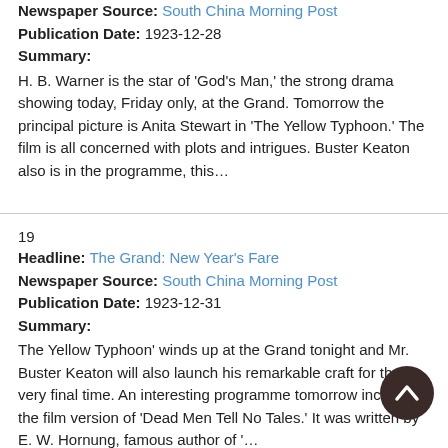Newspaper Source: South China Morning Post
Publication Date: 1923-12-28
Summary:
H. B. Warner is the star of 'God's Man,' the strong drama showing today, Friday only, at the Grand. Tomorrow the principal picture is Anita Stewart in 'The Yellow Typhoon.' The film is all concerned with plots and intrigues. Buster Keaton also is in the programme, this…
19
Headline: The Grand: New Year's Fare
Newspaper Source: South China Morning Post
Publication Date: 1923-12-31
Summary:
The Yellow Typhoon' winds up at the Grand tonight and Mr. Buster Keaton will also launch his remarkable craft for the very final time. An interesting programme tomorrow includes the film version of 'Dead Men Tell No Tales.' It was written by E. W. Hornung, famous author of '…
20